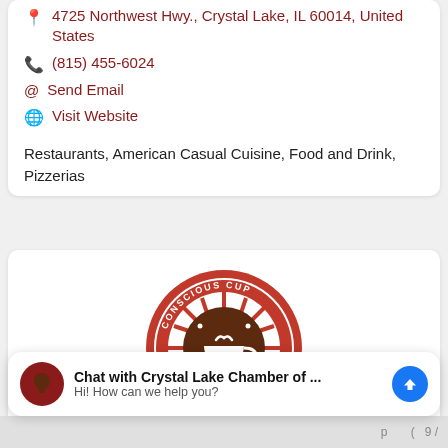4725 Northwest Hwy., Crystal Lake, IL 60014, United States
(815) 455-6024
Send Email
Visit Website
Restaurants, American Casual Cuisine, Food and Drink, Pizzerias
[Figure (logo): Conscious Cup Coffee Roasters circular logo with dark red/brown color scheme featuring a coffee cup in the center with radiating lines]
Chat with Crystal Lake Chamber of ...
Hi! How can we help you?